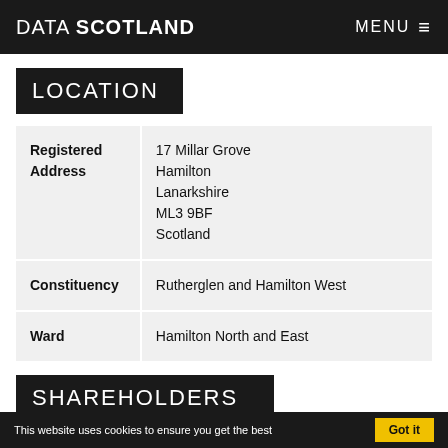DATA SCOTLAND  MENU ☰
LOCATION
| Registered Address | 17 Millar Grove
Hamilton
Lanarkshire
ML3 9BF
Scotland |
| Constituency | Rutherglen and Hamilton West |
| Ward | Hamilton North and East |
SHAREHOLDERS
This website uses cookies to ensure you get the best